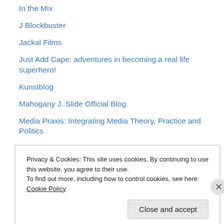In the Mix
J Blockbuster
Jackal Films
Just Add Cape: adventures in becoming a real life superhero!
Kunstblog
Mahogany J. Slide Official Blog
Media Praxis: Integrating Media Theory, Practice and Politics
Miss Representation
Modern Women: Women Artists at the Museum of Modern Art (MoMA)
Movies By Women
Ophelia Thinks Hard
Reel Artsy
Running With My Eyes Closed: Life at the intersection of television and
Privacy & Cookies: This site uses cookies. By continuing to use this website, you agree to their use. To find out more, including how to control cookies, see here: Cookie Policy
Close and accept